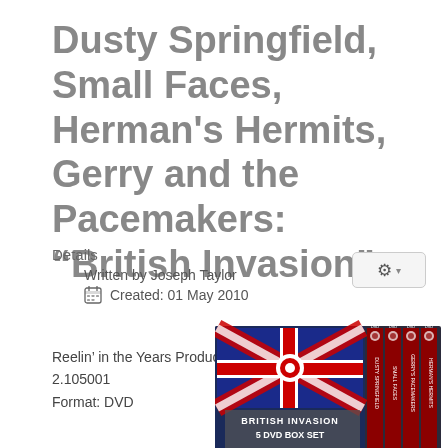Dusty Springfield, Small Faces, Herman's Hermits, Gerry and the Pacemakers: "British Invasion"
Details
Written by Joseph Taylor
Created: 01 May 2010
Reelin' in the Years Productions
2.105001
Format: DVD
[Figure (photo): British Invasion 5 DVD Box Set showing DVD cases with Union Jack flag design, featuring Dusty Springfield, Small Faces, Gerry's Pacemakers, Herman's Hermits]